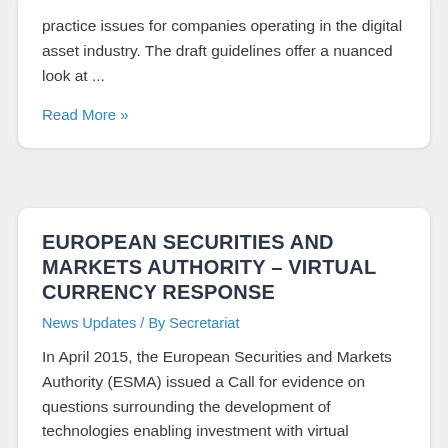practice issues for companies operating in the digital asset industry. The draft guidelines offer a nuanced look at ...
Read More »
EUROPEAN SECURITIES AND MARKETS AUTHORITY – VIRTUAL CURRENCY RESPONSE
News Updates / By Secretariat
In April 2015, the European Securities and Markets Authority (ESMA) issued a Call for evidence on questions surrounding the development of technologies enabling investment with virtual currencies or distributed ledger technologies. DATA's